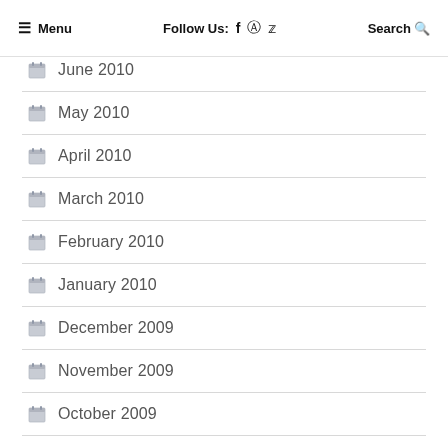≡ Menu   Follow Us: f  ⊙  🐦   Search 🔍
June 2010
May 2010
April 2010
March 2010
February 2010
January 2010
December 2009
November 2009
October 2009
September 2009